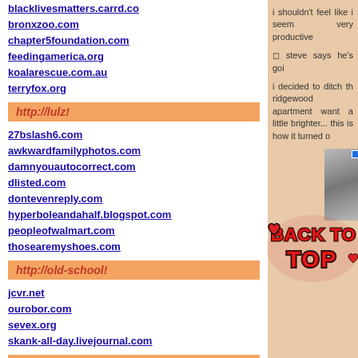blacklivesmatters.carrd.co
bronxzoo.com
chapter5foundation.com
feedingamerica.org
koalarescue.com.au
terryfox.org
http://lulz!
27bslash6.com
awkwardfamilyphotos.com
damnyouautocorrect.com
dlisted.com
dontevenreply.com
hyperboleandahalf.blogspot.com
peopleofwalmart.com
thosearemyshoes.com
http://old-school!
jcvr.net
ourobor.com
sevex.org
skank-all-day.livejournal.com
http://SHOP!*
ashlevi.com
i shouldn't feel like i seem very productive
⬜ steve says he's goi
i decided to ditch th ridgewood apartment want a little brighter... this is how it turned o
[Figure (photo): Photo placeholder and Back to Top graphic with red graffiti-style text]